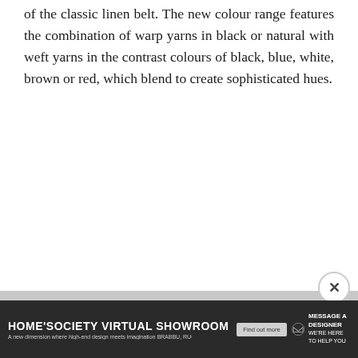of the classic linen belt. The new colour range features the combination of warp yarns in black or natural with weft yarns in the contrast colours of black, blue, white, brown or red, which blend to create sophisticated hues.
[Figure (other): Advertisement banner at bottom of page: HOME'SOCIETY VIRTUAL SHOWROOM with subtitle 'A new dimension where high-end design meets imagination BRABBU, RUGSOCIETY & MAIS...' and a 'MESSAGE A DESIGNER' button with paper plane icon. A close (X) button appears above the banner.]